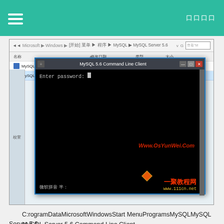≡  oooo
[Figure (screenshot): Windows Explorer showing MySQL 5.6 start menu folder with two shortcuts: MySQL 5.6 Command Line Client - Unicode and MySQL 5.6 Command Line Client. Overlaid is a CMD window titled MySQL 5.6 Command Line Client showing 'Enter password: _' prompt on black background, with watermark Www.OsYunWei.Com and logo 一聚教程网 www.111cn.net]
C:rogramDataMicrosoftWindowsStart MenuProgramsMySQLMySQL Server 5.6
MySQL Server 5.6 Command Line Client